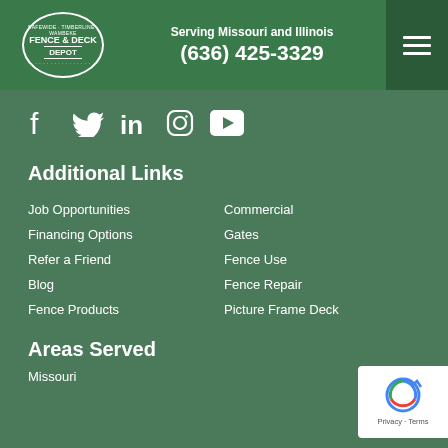Fence & Deck Depot — Serving Missouri and Illinois — (636) 425-3329
[Figure (logo): Social media icons: Facebook, Twitter, LinkedIn, Instagram, YouTube]
Additional Links
Job Opportunities
Financing Options
Refer a Friend
Blog
Fence Products
Commercial
Gates
Fence Use
Fence Repair
Picture Frame Deck
Areas Served
Missouri